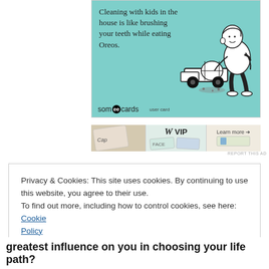[Figure (illustration): Someecards user card with teal/mint background. Text reads: 'Cleaning with kids in the house is like brushing your teeth while eating Oreos.' Illustration of a child playing with a toy cement truck. Someecards logo at bottom left.]
[Figure (screenshot): Partial advertisement banner showing 'W VIP' branding and 'Learn more' text with credit card imagery.]
REPORT THIS AD
Privacy & Cookies: This site uses cookies. By continuing to use this website, you agree to their use.
To find out more, including how to control cookies, see here: Cookie Policy
Close and accept
greatest influence on you in choosing your life path?